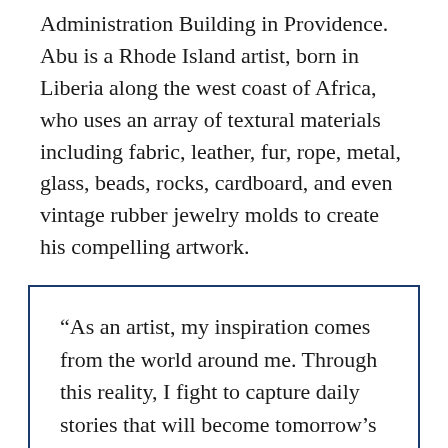Administration Building in Providence. Abu is a Rhode Island artist, born in Liberia along the west coast of Africa, who uses an array of textural materials including fabric, leather, fur, rope, metal, glass, beads, rocks, cardboard, and even vintage rubber jewelry molds to create his compelling artwork.
“As an artist, my inspiration comes from the world around me. Through this reality, I fight to capture daily stories that will become tomorrow’s memories. I am passionate in learning about various cultures and then reinterpret them through my art. As a photographer and artist, I’ve participated and captured many memorable and creative moments. Through these experiences, I have learned more about the arts, enjoyed time